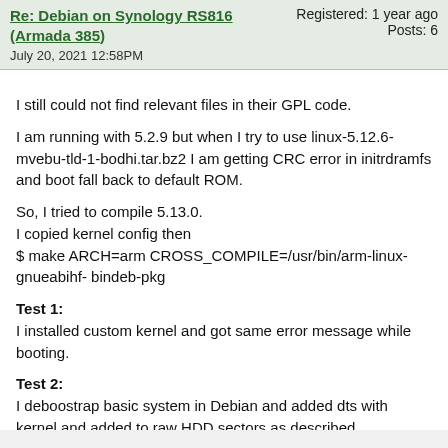Re: Debian on Synology RS816 (Armada 385)
July 20, 2021 12:58PM
Registered: 1 year ago
Posts: 6
I still could not find relevant files in their GPL code.
I am running with 5.2.9 but when I try to use linux-5.12.6-mvebu-tld-1-bodhi.tar.bz2 I am getting CRC error in initrdramfs and boot fall back to default ROM.
So, I tried to compile 5.13.0.
I copied kernel config then
$ make ARCH=arm CROSS_COMPILE=/usr/bin/arm-linux-gnueabihf- bindeb-pkg
Test 1:
I installed custom kernel and got same error message while booting.
Test 2:
I deboostrap basic system in Debian and added dts with kernel and added to raw HDD sectors as described.
Now, I can boot with kernel 5.13.0 but it could not find LABEL=rootfs after initial steps.